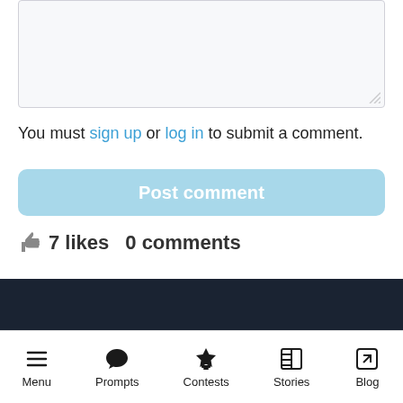[Figure (screenshot): Empty comment textarea input box with light gray background and resize handle in bottom right corner]
You must sign up or log in to submit a comment.
Post comment
7 likes  0 comments
Find the perfect editor
Menu  Prompts  Contests  Stories  Blog